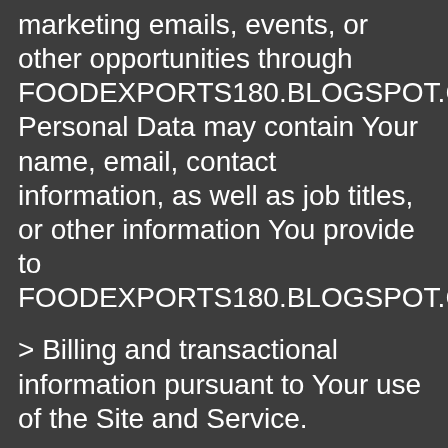marketing emails, events, or other opportunities through FOODEXPORTS180.BLOGSPOT.COM. Personal Data may contain Your name, email, contact information, as well as job titles, or other information You provide to FOODEXPORTS180.BLOGSPOT.COM.
> Billing and transactional information pursuant to Your use of the Site and Service.
> Information regarding Your use of the Site or Service, such as the hardware model, operating system version, web-browser software and